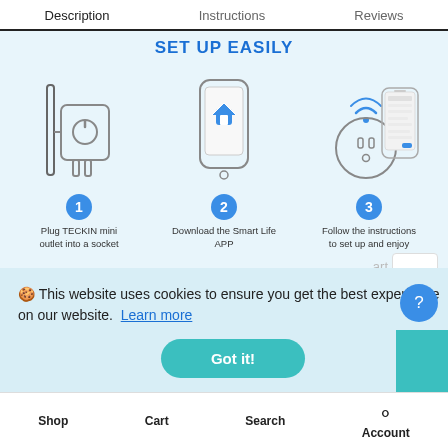Description | Instructions | Reviews
SET UP EASILY
[Figure (illustration): Three-step setup diagram: Step 1 shows a plug icon with number 1 badge and text 'Plug TECKIN mini outlet into a socket'; Step 2 shows a smartphone with home app icon and number 2 badge and text 'Download the Smart Life APP'; Step 3 shows a smart outlet with WiFi signal and phone screen with number 3 badge and text 'Follow the instructions to set up and enjoy']
🍪 This website uses cookies to ensure you get the best experience on our website. Learn more
Got it!
Shop | Cart | Search | Account